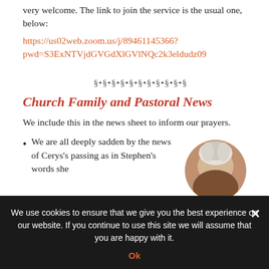very welcome. The link to join the service is the usual one, below:
https://us02web.zoom.us/j/89461145366?pwd=S3ExNTVjdGVGdXlGVlNQc2k3eldudz09
§•§•§•§•§•§•§•§•§•§•§
Church Family and Pastoral News
We include this in the news sheet to inform our prayers.
We are all deeply sadden by the news of Cerys's passing as in Stephen's words she
[Figure (photo): Circular photo of an elderly person with white/grey hair, partially visible]
We use cookies to ensure that we give you the best experience on our website. If you continue to use this site we will assume that you are happy with it.
Ok